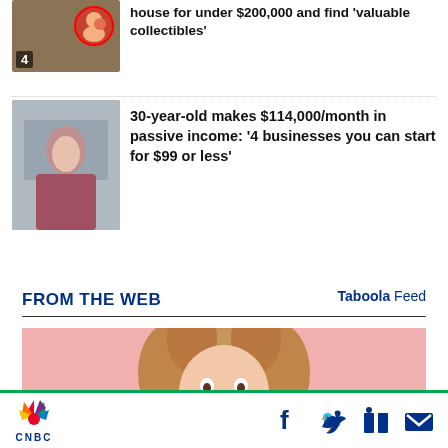[Figure (photo): Thumbnail image with number 4 badge and a circular photo overlay, article about house for under $200,000 and valuable collectibles]
house for under $200,000 and find 'valuable collectibles'
[Figure (photo): Thumbnail photo of a person in a pink hoodie standing outside a building]
30-year-old makes $114,000/month in passive income: '4 businesses you can start for $99 or less'
FROM THE WEB
Taboola Feed
[Figure (photo): Advertisement image showing a smiling young woman with curly hair against a pink background]
CNBC